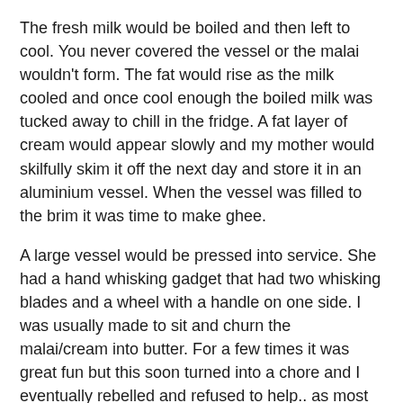The fresh milk would be boiled and then left to cool. You never covered the vessel or the malai wouldn't form. The fat would rise as the milk cooled and once cool enough the boiled milk was tucked away to chill in the fridge. A fat layer of cream would appear slowly and my mother would skilfully skim it off the next day and store it in an aluminium vessel. When the vessel was filled to the brim it was time to make ghee.
A large vessel would be pressed into service. She had a hand whisking gadget that had two whisking blades and a wheel with a handle on one side. I was usually made to sit and churn the malai/cream into butter. For a few times it was great fun but this soon turned into a chore and I eventually rebelled and refused to help.. as most kids are wont to do.
Once the churning was done the butter was put into a thick bottomed vessel and the ghee making began in earnest. The butter would dissolve releasing loads of water and eventually after much stirring and supervising  the golden liquid, the ghee, would begin to emerge. The whole house would be swathed in the smell of ghee.